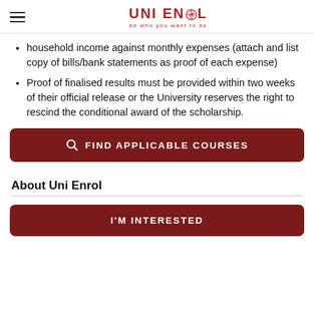UNI ENROL — be who you want to be
household income against monthly expenses (attach and list copy of bills/bank statements as proof of each expense)
Proof of finalised results must be provided within two weeks of their official release or the University reserves the right to rescind the conditional award of the scholarship.
[Figure (other): Dark red button with search icon reading FIND APPLICABLE COURSES]
About Uni Enrol
[Figure (other): Dark red button reading I'M INTERESTED]